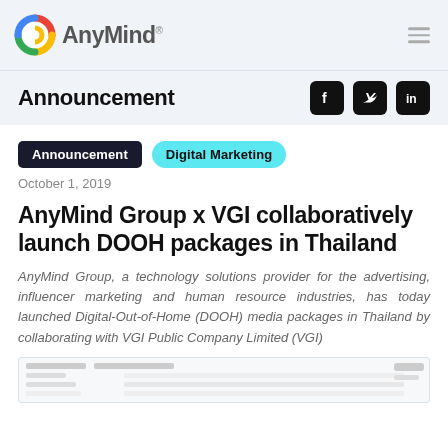AnyMind
Announcement
Announcement   Digital Marketing
October 1, 2019
AnyMind Group x VGI collaboratively launch DOOH packages in Thailand
AnyMind Group, a technology solutions provider for the advertising, influencer marketing and human resource industries, has today launched Digital-Out-of-Home (DOOH) media packages in Thailand by collaborating with VGI Public Company Limited (VGI)
[Figure (screenshot): Screenshot of a web interface or dashboard]